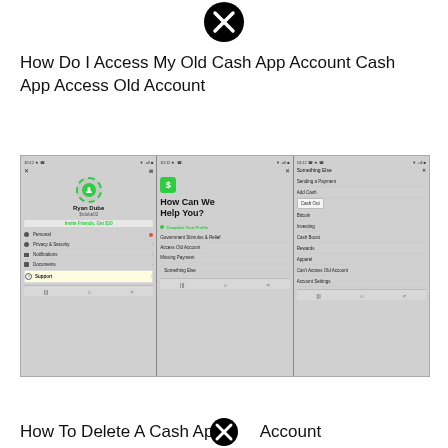[Figure (screenshot): Close/dismiss icon (X in circle) at top center of page]
How Do I Access My Old Cash App Account Cash App Access Old Account
[Figure (screenshot): Three mobile phone screenshots of Cash App showing: 1) User profile for Ryan Dube ($rdube02) with menu options including Support highlighted, 2) 'How Can We Help You?' screen with options including Something Else highlighted, 3) Something Else menu with options including Cash Out highlighted and Can't Access Old Account listed]
How To Delete A Cash App Account